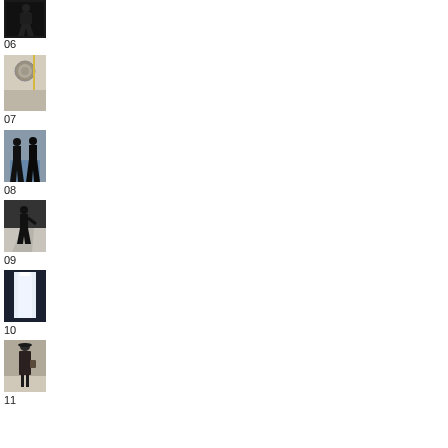[Figure (photo): Person in dark clothing walking, silhouette style, dark background]
06
[Figure (photo): Close-up of a decorative circular medallion on a wall with a vertical yellow line]
07
[Figure (photo): Two silhouetted figures standing, viewed from behind, against bright background]
08
[Figure (photo): Person silhouetted walking on a light surface casting a shadow]
09
[Figure (photo): Bright light from an open elevator or doorway in dark surroundings]
10
[Figure (photo): Woman in long dark coat standing, viewed from the side/back]
11